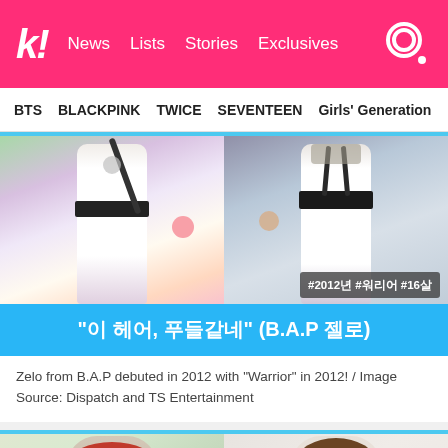k! News Lists Stories Exclusives
BTS  BLACKPINK  TWICE  SEVENTEEN  Girls' Generation
[Figure (photo): Two performers on stage wearing white shirts with black belts and suspenders. Right image has hashtag overlay: #2012년 #워리어 #16살]
“이 헤어, 푸들같네” (B.A.P 젤로)
Zelo from B.A.P debuted in 2012 with “Warrior” in 2012! / Image Source: Dispatch and TS Entertainment
[Figure (photo): Two people: left person wearing a red hat, right person with brown hair and headband]